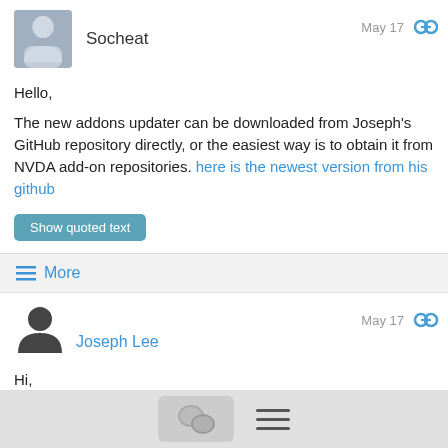[Figure (photo): Avatar photo of Socheat, person standing in doorway]
Socheat
May 17
Hello,
The new addons updater can be downloaded from Joseph's GitHub repository directly, or the easiest way is to obtain it from NVDA add-on repositories. here is the newest version from his github
Show quoted text
≡ More
[Figure (illustration): Generic user avatar silhouette icon for Joseph Lee]
Joseph Lee
May 17
Hi,
If you have Add-on Updater 22.03.1, then you have the latest